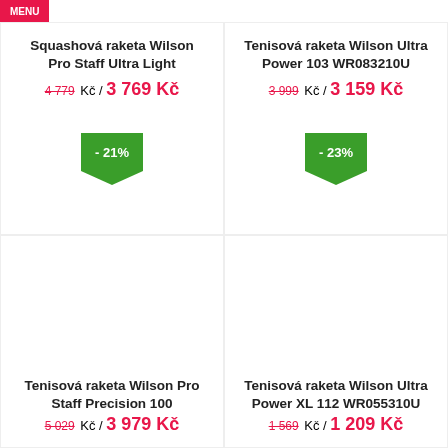MENU
Squashová raketa Wilson Pro Staff Ultra Light
4 779 Kč / 3 769 Kč
[Figure (infographic): Green pentagon/arrow discount badge showing -21%]
Tenisová raketa Wilson Ultra Power 103 WR083210U
3 999 Kč / 3 159 Kč
[Figure (infographic): Green pentagon/arrow discount badge showing -23%]
Tenisová raketa Wilson Pro Staff Precision 100
5 029 Kč / 3 979 Kč
Tenisová raketa Wilson Ultra Power XL 112 WR055310U
1 569 Kč / 1 209 Kč